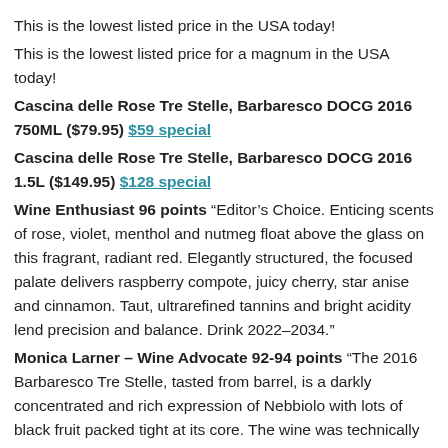This is the lowest listed price in the USA today!
This is the lowest listed price for a magnum in the USA today!
Cascina delle Rose Tre Stelle, Barbaresco DOCG 2016 750ML ($79.95) $59 special
Cascina delle Rose Tre Stelle, Barbaresco DOCG 2016 1.5L ($149.95) $128 special
Wine Enthusiast 96 points “Editor’s Choice. Enticing scents of rose, violet, menthol and nutmeg float above the glass on this fragrant, radiant red. Elegantly structured, the focused palate delivers raspberry compote, juicy cherry, star anise and cinnamon. Taut, ultrarefined tannins and bright acidity lend precision and balance. Drink 2022–2034.”
Monica Larner – Wine Advocate 92-94 points “The 2016 Barbaresco Tre Stelle, tasted from barrel, is a darkly concentrated and rich expression of Nebbiolo with lots of black fruit packed tight at its core. The wine was technically unfinished when I tasted it; however,